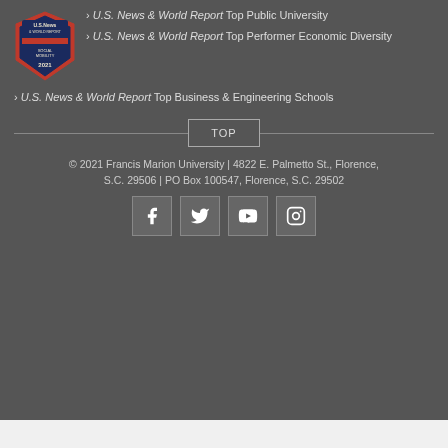[Figure (logo): U.S. News Social Mobility 2021 badge/seal]
› U.S. News & World Report Top Public University
› U.S. News & World Report Top Performer Economic Diversity
› U.S. News & World Report Top Business & Engineering Schools
TOP
© 2021 Francis Marion University | 4822 E. Palmetto St., Florence, S.C. 29506 | PO Box 100547, Florence, S.C. 29502